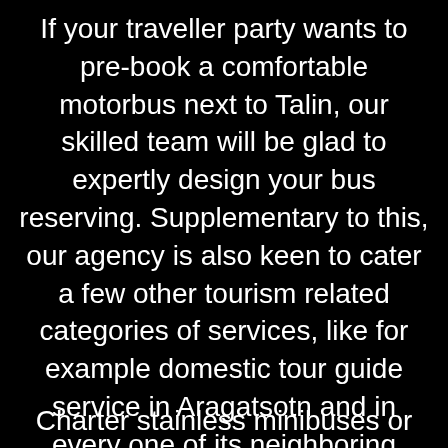If your traveller party wants to pre-book a comfortable motorbus next to Talin, our skilled team will be glad to expertly design your bus reserving. Supplementary to this, our agency is also keen to cater a few other tourism related categories of services, like for example domestic tour guide service in Aragatsotn and in every one of its neighboring areas.
Charter stainless minibuses or